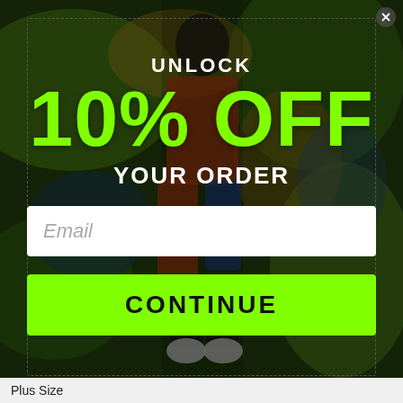[Figure (photo): Background image of a person wearing colorful streetwear standing in front of a vibrant graffiti/mural wall with green, yellow, and blue colors, partially darkened by overlay]
UNLOCK
10% OFF
YOUR ORDER
Email
CONTINUE
Plus Size